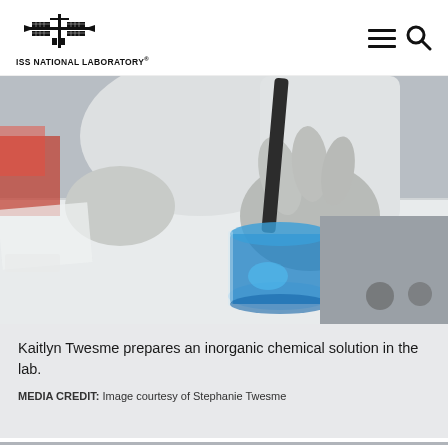ISS NATIONAL LABORATORY®
[Figure (photo): A person wearing white lab coat and latex gloves stirring a bright blue liquid in a glass beaker on a white table surface. A dark stirring rod is being inserted into the beaker. Medical equipment/cart visible in background.]
Kaitlyn Twesme prepares an inorganic chemical solution in the lab.

MEDIA CREDIT: Image courtesy of Stephanie Twesme